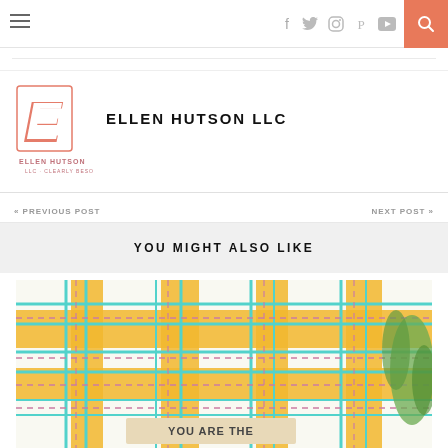Ellen Hutson LLC - navigation bar with hamburger menu, social icons (Facebook, Twitter, Instagram, Pinterest, YouTube), and search button
[Figure (logo): Ellen Hutson LLC logo - stylized letter E in salmon/coral color with company name text below]
ELLEN HUTSON LLC
« PREVIOUS POST
NEXT POST »
YOU MIGHT ALSO LIKE
[Figure (photo): Craft card with colorful plaid/tartan pattern in yellow, teal, and purple on white background with text 'YOU ARE THE']